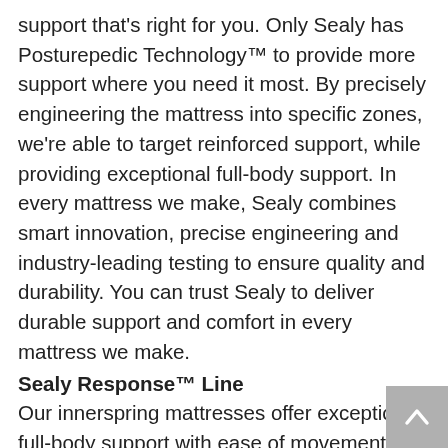support that's right for you. Only Sealy has Posturepedic Technology™ to provide more support where you need it most. By precisely engineering the mattress into specific zones, we're able to target reinforced support, while providing exceptional full-body support. In every mattress we make, Sealy combines smart innovation, precise engineering and industry-leading testing to ensure quality and durability. You can trust Sealy to deliver durable support and comfort in every mattress we make.
Sealy Response™ Line
Our innerspring mattresses offer exceptional full-body support with ease of movement, for that sleep-on-top feeling and the comfort you want. We use exclusive Posturepedic Technology™ to deliver the stable, all-over support you want, with reinforced support under the heaviest part of your body, where